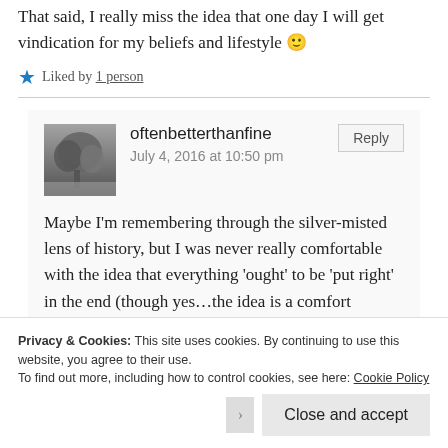That said, I really miss the idea that one day I will get vindication for my beliefs and lifestyle 🙂
★ Liked by 1 person
oftenbetterthanfine
July 4, 2016 at 10:50 pm
Maybe I'm remembering through the silver-misted lens of history, but I was never really comfortable with the idea that everything 'ought' to be 'put right' in the end (though yes…the idea is a comfort
Privacy & Cookies: This site uses cookies. By continuing to use this website, you agree to their use.
To find out more, including how to control cookies, see here: Cookie Policy